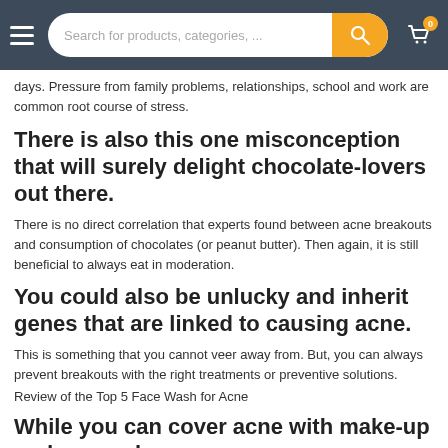Search for products, categories, ...
days. Pressure from family problems, relationships, school and work are common root course of stress.
There is also this one misconception that will surely delight chocolate-lovers out there.
There is no direct correlation that experts found between acne breakouts and consumption of chocolates (or peanut butter). Then again, it is still beneficial to always eat in moderation.
You could also be unlucky and inherit genes that are linked to causing acne.
This is something that you cannot veer away from. But, you can always prevent breakouts with the right treatments or preventive solutions.
Review of the Top 5 Face Wash for Acne
While you can cover acne with make-up and concealers,
the use of face wash for acne with medicinal ingredients is your